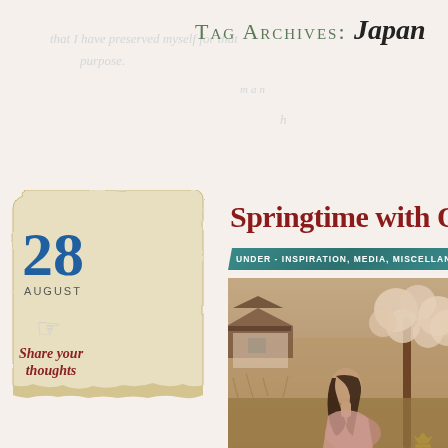TAG ARCHIVES: Japan
[Figure (illustration): Calendar widget showing date 28 August with pointing hand icon and 'Share your thoughts' text on aged parchment background]
Springtime with Oba...
UNDER - INSPIRATION, MEDIA, MISCELLANEOUS
[Figure (photo): Young woman with long dark hair, viewed from behind/side profile, in a springtime Japanese garden scene with blossoming trees and traditional architecture in background, sepia/warm tone]